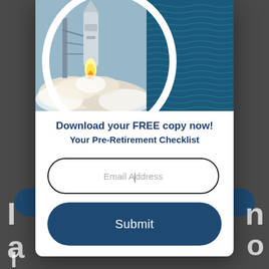[Figure (photo): Rocket launch with white smoke/clouds, shown in a circular crop on the left side of the modal header image. Right side has a dark teal background with wavy horizontal line pattern.]
Download your FREE copy now!
Your Pre-Retirement Checklist
Email Address
Submit